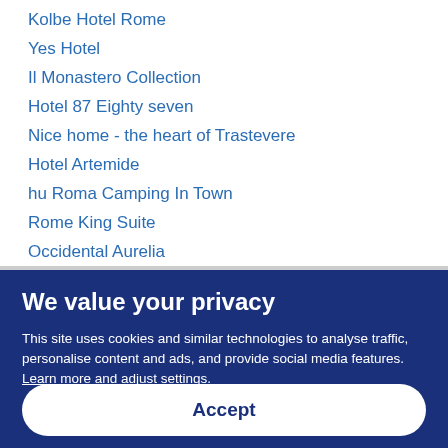Kolbe Hotel Rome
Yes Hotel
Il Monastero Collection
Hotel 87 Eighty seven
Nice home - the heart of Trastevere
Hotel Artemide
hu Roma Camping In Town
Rome King Suite
Occidental Aurelia
Augusta Lucilla Palace
Hotel Locarno
We value your privacy
This site uses cookies and similar technologies to analyse traffic, personalise content and ads, and provide social media features. Learn more and adjust settings.
Accept